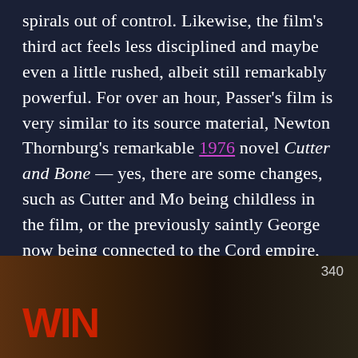spirals out of control. Likewise, the film's third act feels less disciplined and maybe even a little rushed, albeit still remarkably powerful. For over an hour, Passer's film is very similar to its source material, Newton Thornburg's remarkable 1976 novel Cutter and Bone — yes, there are some changes, such as Cutter and Mo being childless in the film, or the previously saintly George now being connected to the Cord empire, but the spirit and the guts of the novel is all there.
[Figure (photo): Bottom portion of page showing a partial photograph with 'WIN' text visible in red on left side, and the number 340 in upper right of the photo area.]